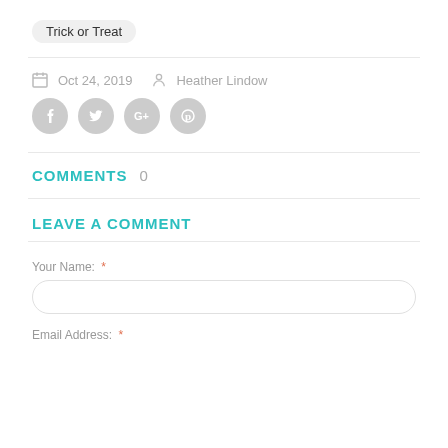Trick or Treat
Oct 24, 2019  Heather Lindow
[Figure (illustration): Four circular social media share icons (Facebook, Twitter, Google+, Pinterest) in gray]
COMMENTS  0
LEAVE A COMMENT
Your Name: *
Email Address: *